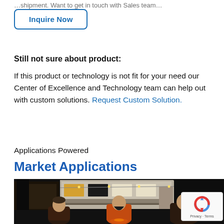...shipment. Want to get in touch with Sales team...
Inquire Now
Still not sure about product:
If this product or technology is not fit for your need our Center of Excellence and Technology team can help out with custom solutions. Request Custom Solution.
Applications Powered
Market Applications
[Figure (photo): Three people sitting outside at night near an RV/camper van with string lights, laughing and talking around a fire.]